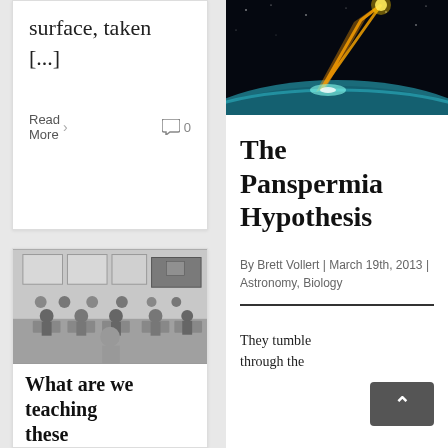surface, taken [...]
Read More › 🗨 0
[Figure (photo): Black and white photograph of a 1950s classroom with children seated at desks]
What are we teaching these
[Figure (photo): Space photo showing a comet or meteor streaking toward Earth's surface seen from orbit, dark sky background]
The Panspermia Hypothesis
By Brett Vollert | March 19th, 2013 | Astronomy, Biology
They tumble through the